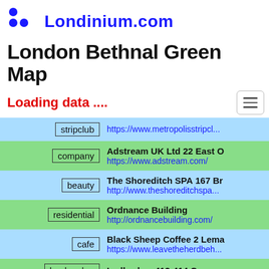Londinium.com
London Bethnal Green Map
Loading data ....
| tag | info |
| --- | --- |
| stripclub | https://www.metropolisstripcl... |
| company | Adstream UK Ltd 22 East O... https://www.adstream.com/ |
| beauty | The Shoreditch SPA 167 Br... http://www.theshoreditchspa... |
| residential | Ordnance Building http://ordnancebuilding.com/ |
| cafe | Black Sheep Coffee 2 Lema... https://www.leavetheherdbeh... |
| bookmaker | Ladbrokes 412-414 Commer... |